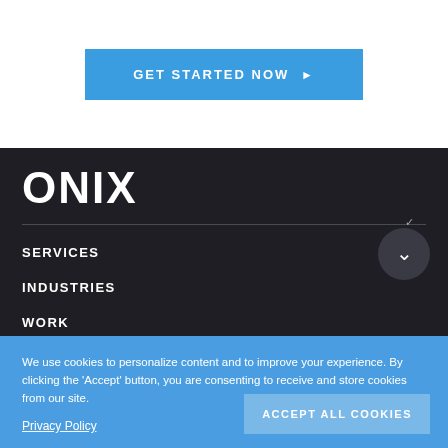[Figure (other): Blue CTA button with text 'GET STARTED NOW ▶']
[Figure (logo): ONIX logo in white bold text on dark background, with navigation menu items SERVICES, INDUSTRIES, WORK and a chevron circle icon]
We use cookies to personalize content and to improve your experience. By clicking the 'Accept' button, you are consenting to receive and store cookies from our site.
Privacy Policy
ACCEPT ALL COOKIES